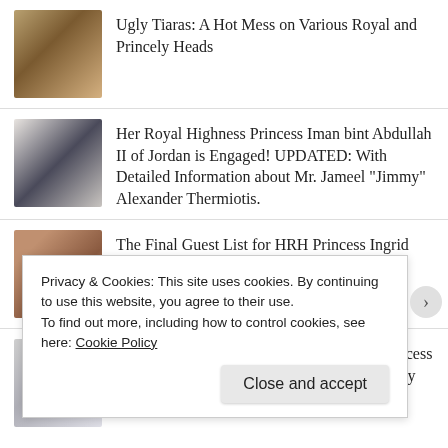Ugly Tiaras: A Hot Mess on Various Royal and Princely Heads
Her Royal Highness Princess Iman bint Abdullah II of Jordan is Engaged! UPDATED: With Detailed Information about Mr. Jameel "Jimmy" Alexander Thermiotis.
The Final Guest List for HRH Princess Ingrid Alexandra of Norway's Birthday Gala Dinner Released!
TRHs Crown Prince Haakon and Crown Princess Mette-Marit of Norway Begin their Three-Day Official Visit to Sweden.
Privacy & Cookies: This site uses cookies. By continuing to use this website, you agree to their use.
To find out more, including how to control cookies, see here: Cookie Policy
Close and accept